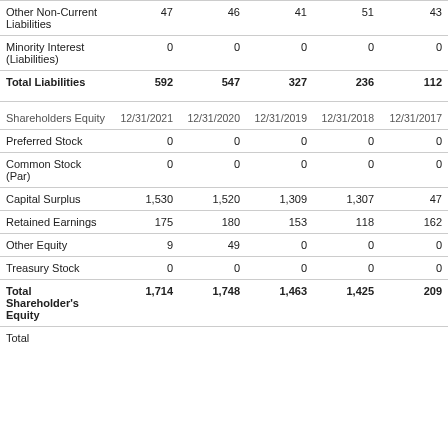|  | 12/31/2021 | 12/31/2020 | 12/31/2019 | 12/31/2018 | 12/31/2017 |
| --- | --- | --- | --- | --- | --- |
| Other Non-Current Liabilities | 47 | 46 | 41 | 51 | 43 |
| Minority Interest (Liabilities) | 0 | 0 | 0 | 0 | 0 |
| Total Liabilities | 592 | 547 | 327 | 236 | 112 |
| Shareholders Equity | 12/31/2021 | 12/31/2020 | 12/31/2019 | 12/31/2018 | 12/31/2017 |
| Preferred Stock | 0 | 0 | 0 | 0 | 0 |
| Common Stock (Par) | 0 | 0 | 0 | 0 | 0 |
| Capital Surplus | 1,530 | 1,520 | 1,309 | 1,307 | 47 |
| Retained Earnings | 175 | 180 | 153 | 118 | 162 |
| Other Equity | 9 | 49 | 0 | 0 | 0 |
| Treasury Stock | 0 | 0 | 0 | 0 | 0 |
| Total Shareholder's Equity | 1,714 | 1,748 | 1,463 | 1,425 | 209 |
| Total |  |  |  |  |  |